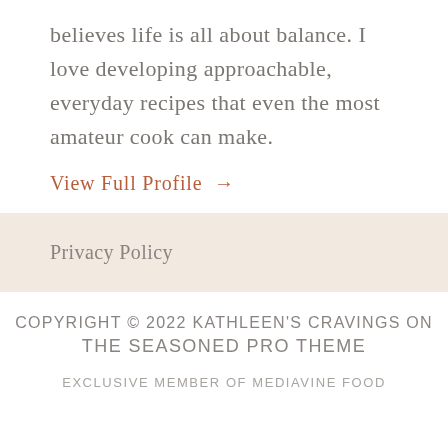believes life is all about balance. I love developing approachable, everyday recipes that even the most amateur cook can make.
View Full Profile →
Privacy Policy
COPYRIGHT © 2022 KATHLEEN'S CRAVINGS ON THE SEASONED PRO THEME
EXCLUSIVE MEMBER OF MEDIAVINE FOOD